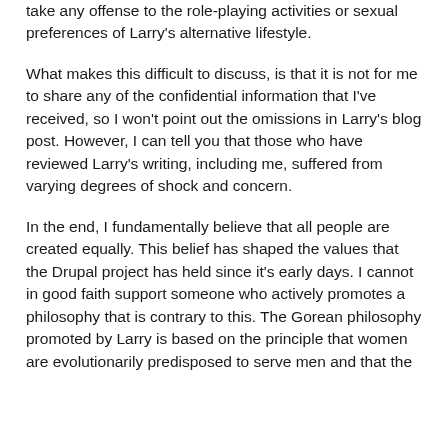take any offense to the role-playing activities or sexual preferences of Larry's alternative lifestyle.
What makes this difficult to discuss, is that it is not for me to share any of the confidential information that I've received, so I won't point out the omissions in Larry's blog post. However, I can tell you that those who have reviewed Larry's writing, including me, suffered from varying degrees of shock and concern.
In the end, I fundamentally believe that all people are created equally. This belief has shaped the values that the Drupal project has held since it's early days. I cannot in good faith support someone who actively promotes a philosophy that is contrary to this. The Gorean philosophy promoted by Larry is based on the principle that women are evolutionarily predisposed to serve men and that the